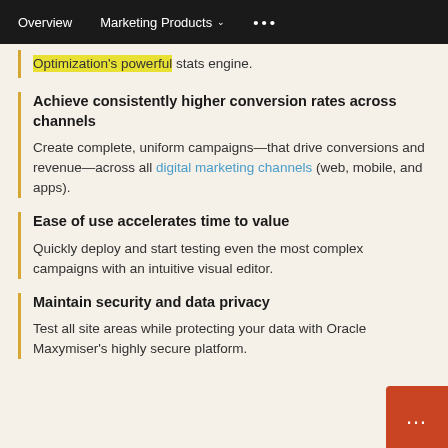Overview   Marketing Products   ...
Optimization's powerful stats engine.
Achieve consistently higher conversion rates across channels
Create complete, uniform campaigns—that drive conversions and revenue—across all digital marketing channels (web, mobile, and apps).
Ease of use accelerates time to value
Quickly deploy and start testing even the most complex campaigns with an intuitive visual editor.
Maintain security and data privacy
Test all site areas while protecting your data with Oracle Maxymiser's highly secure platform.